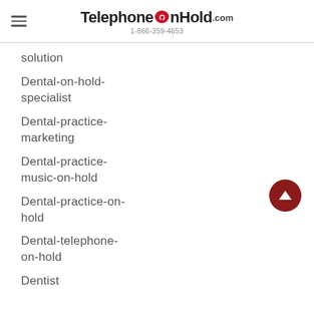TelephoneOnHold.com 1-866-359-4653
solution
Dental-on-hold-specialist
Dental-practice-marketing
Dental-practice-music-on-hold
Dental-practice-on-hold
Dental-telephone-on-hold
Dentist